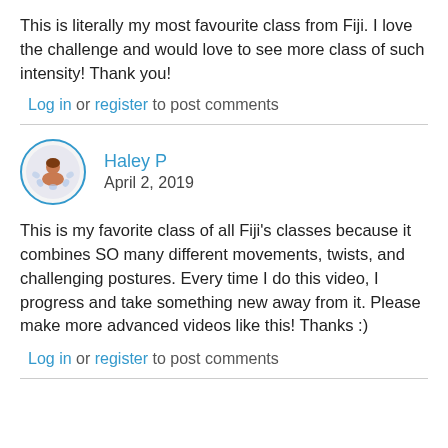This is literally my most favourite class from Fiji. I love the challenge and would love to see more class of such intensity! Thank you!
Log in or register to post comments
Haley P
April 2, 2019
This is my favorite class of all Fiji's classes because it combines SO many different movements, twists, and challenging postures. Every time I do this video, I progress and take something new away from it. Please make more advanced videos like this! Thanks :)
Log in or register to post comments